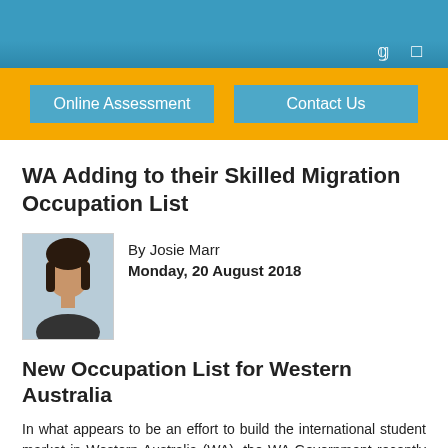Online Assessment | Contact Us
WA Adding to their Skilled Migration Occupation List
By Josie Marr
Monday, 20 August 2018
[Figure (photo): Headshot photo of author Josie Marr]
New Occupation List for Western Australia
In what appears to be an effort to build the international student market in Western Australia (WA), the WA Government recently announced it will release an additional occupation list for skilled graduates of WA universities.